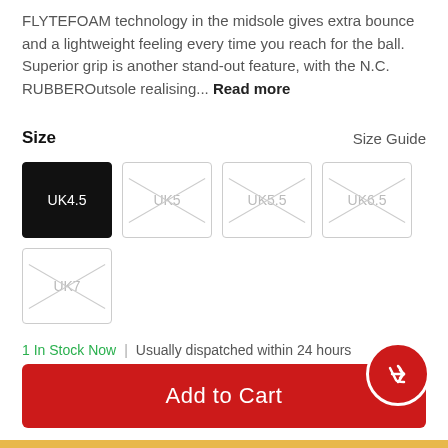FLYTEFOAM technology in the midsole gives extra bounce and a lightweight feeling every time you reach for the ball. Superior grip is another stand-out feature, with the N.C. RUBBEROutsole realising... Read more
Size
Size Guide
UK4.5 (selected), UK5 (unavailable), UK5.5 (unavailable), UK6.5 (unavailable), UK7 (unavailable)
1 In Stock Now  |  Usually dispatched within 24 hours
Quantity  1
Add to Cart